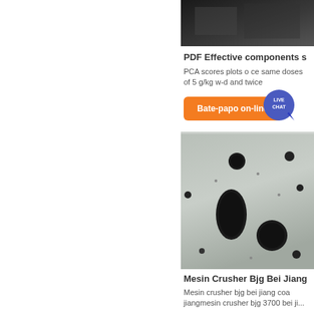[Figure (photo): Dark industrial photo at top of right panel (partially visible)]
PDF Effective components s
PCA scores plots o ce same doses of 5 g/kg w-d and twice
[Figure (other): Live Chat badge button overlay]
[Figure (other): Orange Bate-papo on-line (live chat) button]
[Figure (photo): Photo of large industrial crusher plate with holes and slots, white/gray metal surface]
Mesin Crusher Bjg Bei Jiang
Mesin crusher bjg bei jiang coa jiangmesin crusher bjg 3700 bei ji...